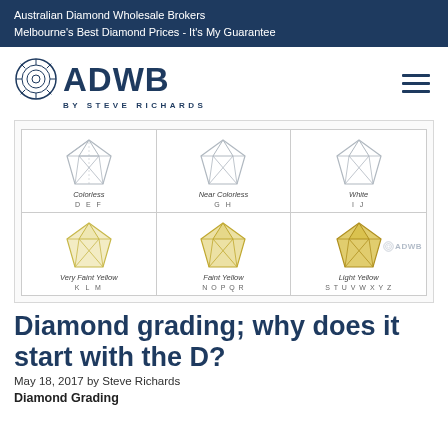Australian Diamond Wholesale Brokers
Melbourne's Best Diamond Prices - It's My Guarantee
[Figure (logo): ADWB by Steve Richards logo with circular diamond icon and hamburger menu icon]
[Figure (infographic): Diamond color grading chart showing 6 diamonds in two rows: top row (colorless white diamonds) labeled Colorless D E F, Near Colorless G H, White I J; bottom row (yellow-tinted diamonds) labeled Very Faint Yellow K L M, Faint Yellow N O P Q R, Light Yellow S T U V W X Y Z. ADWB watermark on bottom right.]
Diamond grading; why does it start with the D?
May 18, 2017 by Steve Richards
Diamond Grading